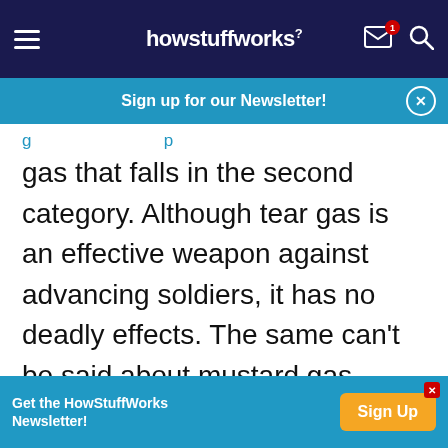howstuffworks
Sign up for our Newsletter!
gas that falls in the second category. Although tear gas is an effective weapon against advancing soldiers, it has no deadly effects. The same can't be said about mustard gas.
Advertisement
[Figure (other): Gray advertisement placeholder box]
Get the HowStuffWorks Newsletter!